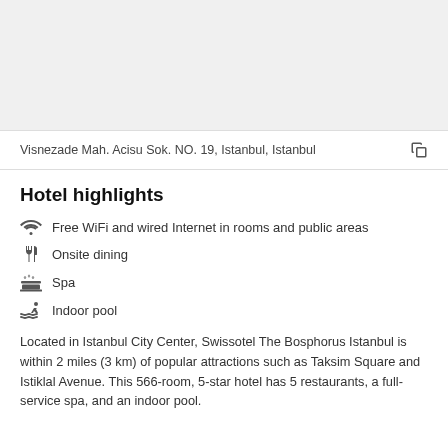[Figure (photo): Hotel photo placeholder area (gray background)]
Visnezade Mah. Acisu Sok. NO. 19, Istanbul, Istanbul
Hotel highlights
Free WiFi and wired Internet in rooms and public areas
Onsite dining
Spa
Indoor pool
Located in Istanbul City Center, Swissotel The Bosphorus Istanbul is within 2 miles (3 km) of popular attractions such as Taksim Square and Istiklal Avenue. This 566-room, 5-star hotel has 5 restaurants, a full-service spa, and an indoor pool.